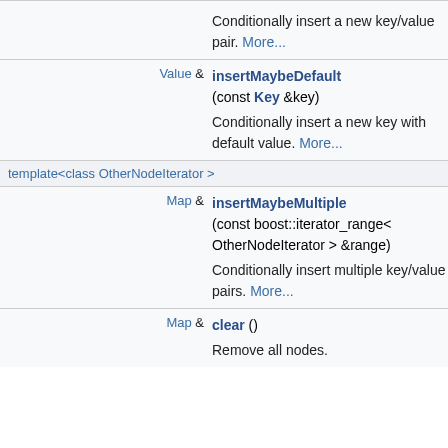|  |  |
| --- | --- |
|  | Conditionally insert a new key/value pair. More... |
| Value &  | insertMaybeDefault (const Key &key)
Conditionally insert a new key with default value. More... |
| template<class OtherNodeIterator > |  |
| Map &  | insertMaybeMultiple (const boost::iterator_range< OtherNodeIterator > &range)
Conditionally insert multiple key/value pairs. More... |
| Map &  | clear ()
Remove all nodes. |